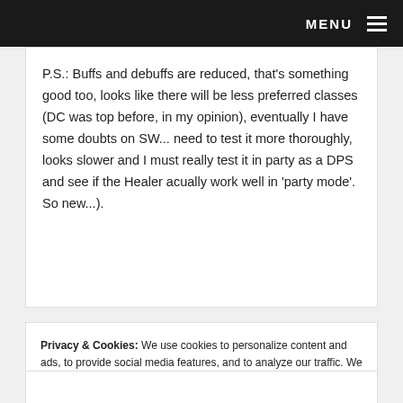MENU
P.S.: Buffs and debuffs are reduced, that's something good too, looks like there will be less preferred classes (DC was top before, in my opinion), eventually I have some doubts on SW... need to test it more thoroughly, looks slower and I must really test it in party as a DPS and see if the Healer acually work well in 'party mode'. So new...).
Privacy & Cookies: We use cookies to personalize content and ads, to provide social media features, and to analyze our traffic. We also share information about your use of our site with our social media, advertising and analytics partners. You can close this dialogue if you're cool with that, or visit our privacy and cookie page for more details. Privacy and Cookie Consent Information
Close and accept